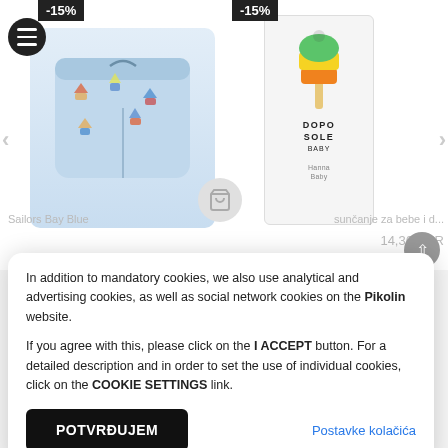[Figure (screenshot): E-commerce product page showing two products with -15% discount badges. Left: children's blue sailor swimshorts. Right: Dopo Sole Baby product in white box with ice cream graphic. Navigation arrows visible on sides.]
In addition to mandatory cookies, we also use analytical and advertising cookies, as well as social network cookies on the Pikolin website.

If you agree with this, please click on the I ACCEPT button. For a detailed description and in order to set the use of individual cookies, click on the COOKIE SETTINGS link.
POTVRĐUJEM
Postavke kolačića